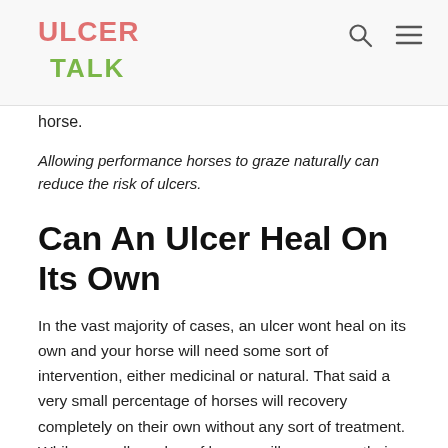ULCER TALK
horse.
Allowing performance horses to graze naturally can reduce the risk of ulcers.
Can An Ulcer Heal On Its Own
In the vast majority of cases, an ulcer wont heal on its own and your horse will need some sort of intervention, either medicinal or natural. That said a very small percentage of horses will recovery completely on their own without any sort of treatment. While a small number of horses will recover on their own its better to presume the [CLOSE] rather than presume they will.